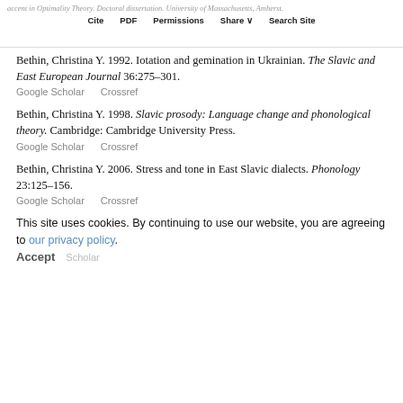accent in Optimality Theory. Doctoral dissertation. University of Massachusetts, Amherst. | Cite | PDF | Permissions | Share | Search Site
Bethin, Christina Y. 1992. Iotation and gemination in Ukrainian. The Slavic and East European Journal 36:275–301.
Google Scholar   Crossref
Bethin, Christina Y. 1998. Slavic prosody: Language change and phonological theory. Cambridge: Cambridge University Press.
Google Scholar   Crossref
Bethin, Christina Y. 2006. Stress and tone in East Slavic dialects. Phonology 23:125–156.
Google Scholar   Crossref
This site uses cookies. By continuing to use our website, you are agreeing to our privacy policy. Accept